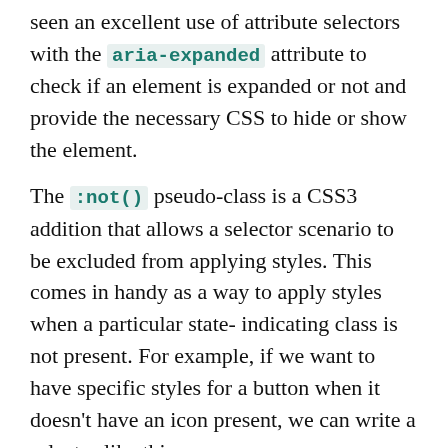seen an excellent use of attribute selectors with the aria-expanded attribute to check if an element is expanded or not and provide the necessary CSS to hide or show the element.
The :not() pseudo-class is a CSS3 addition that allows a selector scenario to be excluded from applying styles. This comes in handy as a way to apply styles when a particular state-indicating class is not present. For example, if we want to have specific styles for a button when it doesn't have an icon present, we can write a selector like this:
.button:not('.has-icon') {...} . At first it may not seem like a worthwhile